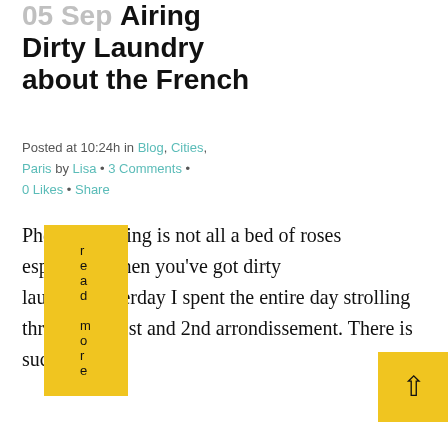05 Sep Airing Dirty Laundry about the French
Posted at 10:24h in Blog, Cities, Paris by Lisa • 3 Comments • 0 Likes • Share
Phew. Traveling is not all a bed of roses especially when you've got dirty laundry.Yesterday I spent the entire day strolling through the 1st and 2nd arrondissement. There is such...
read more